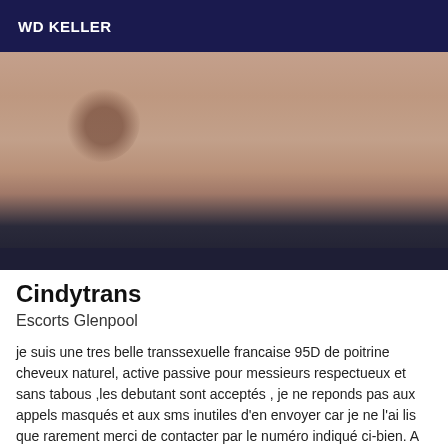WD KELLER
[Figure (photo): Close-up photo of a person's chest/torso against a dark background]
Cindytrans
Escorts Glenpool
je suis une tres belle transsexuelle francaise 95D de poitrine cheveux naturel, active passive pour messieurs respectueux et sans tabous ,les debutant sont acceptés , je ne reponds pas aux appels masqués et aux sms inutiles d'en envoyer car je ne l'ai lis que rarement merci de contacter par le numéro indiqué ci-bien. A ce ci